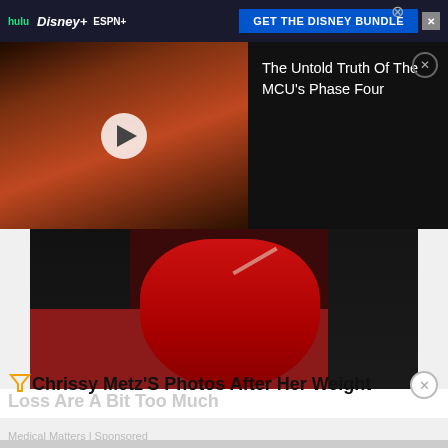[Figure (screenshot): Ad banner with Hulu, Disney+, ESPN+ logos and GET THE DISNEY BUNDLE button]
[Figure (screenshot): Video thumbnail showing a man with reddish-orange background with play button overlay]
The Untold Truth Of The MCU's Phase Four
[Figure (photo): Photo of a woman in a red off-shoulder dress on a red carpet, with people in formal wear in background]
Chrissy Metz'S Photos After Her Weight Loss Are A Bit Too Much
Medical Matters | Sponsored